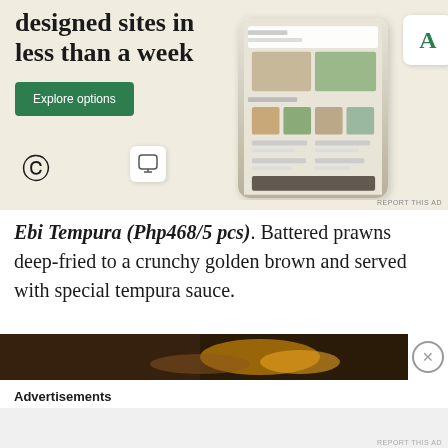[Figure (screenshot): WordPress advertisement banner showing 'designed sites in less than a week' headline with Explore options button, WordPress logo, and mockup of a restaurant/food website on a phone screen with food images. Beige/cream background.]
Ebi Tempura (Php468/5 pcs). Battered prawns deep-fried to a crunchy golden brown and served with special tempura sauce.
[Figure (photo): Dark photo of food, appears to be fried items, dimly lit restaurant setting]
Advertisements